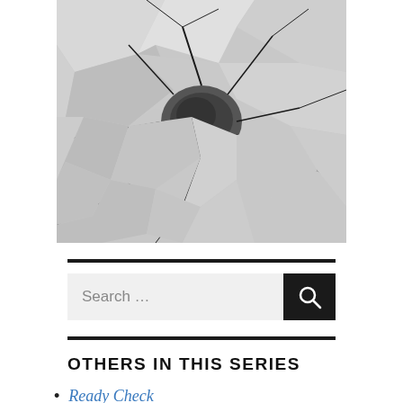[Figure (photo): Close-up photo of cracked dry earth or stone surface in grey tones, with dark cracks and a darker central depression.]
OTHERS IN THIS SERIES
Ready Check
Dinner Before Raid